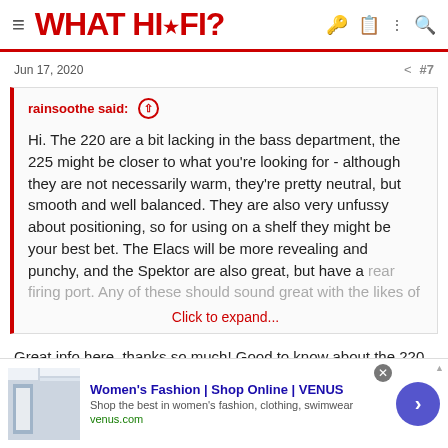WHAT HI*FI?
Jun 17, 2020    #7
rainsoothe said: ↑

Hi. The 220 are a bit lacking in the bass department, the 225 might be closer to what you're looking for - although they are not necessarily warm, they're pretty neutral, but smooth and well balanced. They are also very unfussy about positioning, so for using on a shelf they might be your best bet. The Elacs will be more revealing and punchy, and the Spektor are also great, but have a rear firing port. Any of these should sound great with the likes of
Click to expand...
Great info here, thanks so much! Good to know about the 220 maybe
[Figure (screenshot): Advertisement for Women's Fashion VENUS shop with image of woman, headline 'Women's Fashion | Shop Online | VENUS', subtitle 'Shop the best in women's fashion, clothing, swimwear', URL 'venus.com', and a navigation arrow button]